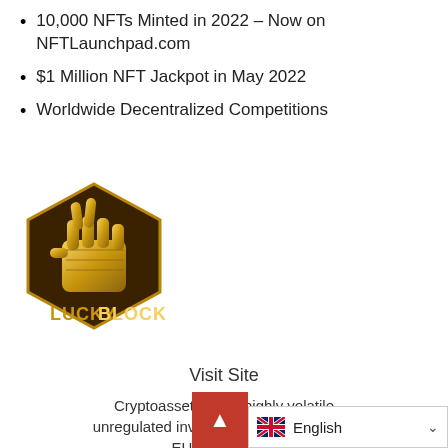10,000 NFTs Minted in 2022 – Now on NFTLaunchpad.com
$1 Million NFT Jackpot in May 2022
Worldwide Decentralized Competitions
[Figure (logo): Lucky Block logo: gold hexagonal badge with a fist making a peace/victory sign, text LUCKYBLOCK in gold below]
Visit Site
Cryptoassets are a highly volatile unregulated investment product. No UK EU investor p…